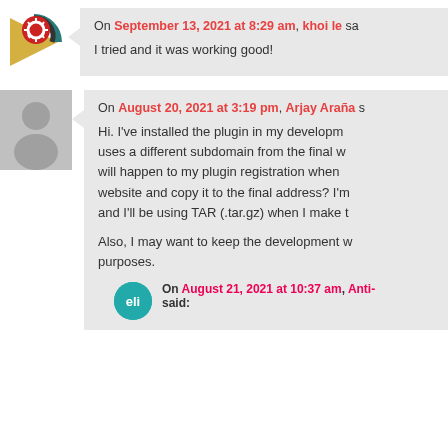On September 13, 2021 at 8:29 am, khoi le said: I tried and it was working good!
On August 20, 2021 at 3:19 pm, Arjay Araña said: Hi. I've installed the plugin in my development website which uses a different subdomain from the final website. What will happen to my plugin registration when I finish the website and copy it to the final address? I'm new to this and I'll be using TAR (.tar.gz) when I make the transfer. Also, I may want to keep the development website for testing purposes.
On August 21, 2021 at 10:37 am, Anti- said: